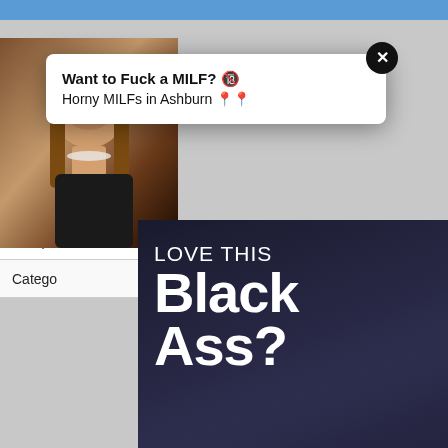[Figure (screenshot): Website background with table rows showing 'Europ' text, a red badge showing '8,957K', and category row with partial text]
[Figure (screenshot): Pop-up notification ad with close button (X), bold text 'Want to Fuck a MILF?' with emoji, and subtitle 'Horny MILFs in Ashburn' with emoji]
[Figure (photo): Photo of woman with long blonde hair wearing pearl necklace and black top, partial crop on left side]
[Figure (advertisement): Adult ad overlay on dark background showing text 'LOVE THIS Black Ass?' with 'GET 120 FREE CREDITS' blue CTA button, and image of woman with braided hair]
[Figure (advertisement): Flirt4Free banner ad at bottom showing logo 'FLIRT4FREE' and text 'LOVE THIS Black' with woman with braids on right side]